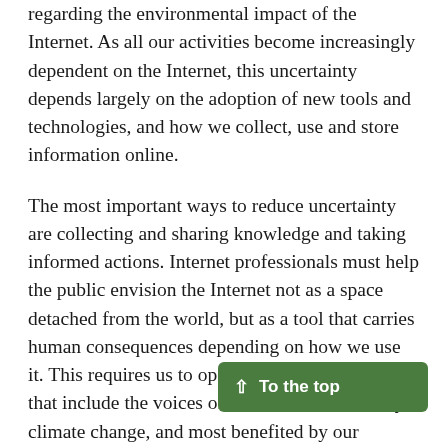regarding the environmental impact of the Internet. As all our activities become increasingly dependent on the Internet, this uncertainty depends largely on the adoption of new tools and technologies, and how we collect, use and store information online.
The most important ways to reduce uncertainty are collecting and sharing knowledge and taking informed actions. Internet professionals must help the public envision the Internet not as a space detached from the world, but as a tool that carries human consequences depending on how we use it. This requires us to open up discussion spaces that include the voices of those most affected by climate change, and most benefited by our connectivity.